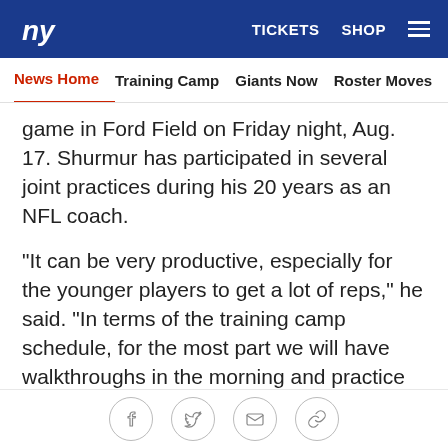NY Giants logo | TICKETS SHOP
News Home | Training Camp | Giants Now | Roster Moves | Fact o
game in Ford Field on Friday night, Aug. 17. Shurmur has participated in several joint practices during his 20 years as an NFL coach.
"It can be very productive, especially for the younger players to get a lot of reps," he said. "In terms of the training camp schedule, for the most part we will have walkthroughs in the morning and practice in the afternoon. There will be a handful of practices where we practice in the morning. We will just change it up a little bit. It was a very productive offseason. I told the players we have come a long way, but we have a long